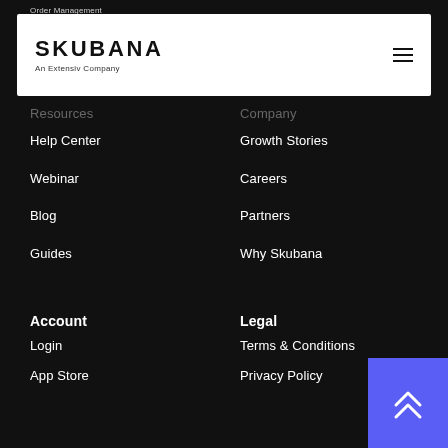Order Management
[Figure (logo): Skubana logo with text 'SKUBANA' in bold and 'An Extensiv Company' below, with hamburger menu icon on right, on white header bar]
Resources
Help Center
Webinar
Blog
Guides
Glossary
Fulfillment Marketplace
Company
Growth Stories
Careers
Partners
Why Skubana
About Extensiv
Account
Login
App Store
Legal
Terms & Conditions
Privacy Policy